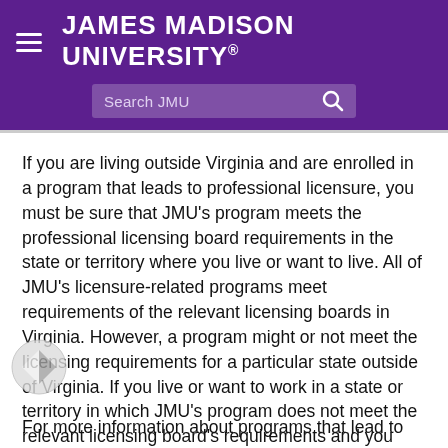JAMES MADISON UNIVERSITY
If you are living outside Virginia and are enrolled in a program that leads to professional licensure, you must be sure that JMU's program meets the professional licensing board requirements in the state or territory where you live or want to live. All of JMU's licensure-related programs meet requirements of the relevant licensing boards in Virginia. However, a program might or not meet the licensing requirements for a particular state outside of Virginia. If you live or want to work in a state or territory in which JMU's program does not meet the relevant licensing board's requirements and you decide to complete the program, you will be asked to sign a letter acknowledging fact.
For more information about programs that lead to